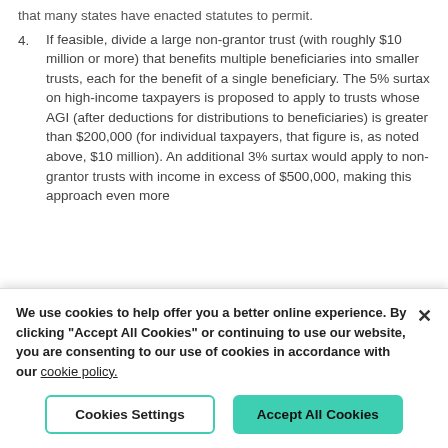that many states have enacted statutes to permit.
4. If feasible, divide a large non-grantor trust (with roughly $10 million or more) that benefits multiple beneficiaries into smaller trusts, each for the benefit of a single beneficiary. The 5% surtax on high-income taxpayers is proposed to apply to trusts whose AGI (after deductions for distributions to beneficiaries) is greater than $200,000 (for individual taxpayers, that figure is, as noted above, $10 million). An additional 3% surtax would apply to non-grantor trusts with income in excess of $500,000, making this approach even more
We use cookies to help offer you a better online experience. By clicking "Accept All Cookies" or continuing to use our website, you are consenting to our use of cookies in accordance with our cookie policy.
Cookies Settings | Accept All Cookies